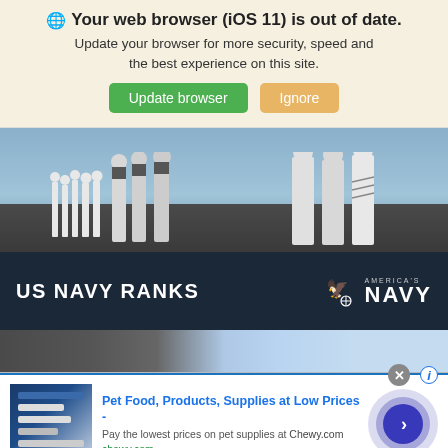🌐 Your web browser (iOS 11) is out of date. Update your browser for more security, speed and the best experience on this site.
Update browser | Ignore
[Figure (photo): US Navy personnel in white dress uniforms lined up on a ship deck. Dark overlay at bottom with text 'US NAVY RANKS' on the left and America's Navy logo on the right.]
[Figure (photo): Partial view of a second image strip showing dark equipment and light blue elements.]
[Figure (screenshot): Advertisement for Chewy.com: 'Pet Food, Products, Supplies at Low Prices - Pay the lowest prices on pet supplies at Chewy.com' with a circular arrow button and close button.]